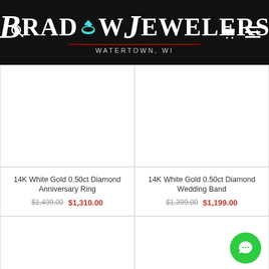[Figure (logo): Bradow Jewelers logo with diamond ring icon, white text on black background, subtitle WATERTOWN, WI]
[Figure (photo): 14K White Gold 0.50ct Diamond Anniversary Ring product photo (white background)]
[Figure (photo): 14K White Gold 0.50ct Diamond Wedding Band product photo (white background)]
14K White Gold 0.50ct Diamond Anniversary Ring
$1,499.00  $1,310.00
14K White Gold 0.50ct Diamond Wedding Band
$1,399.00  $1,199.00
[Figure (photo): Bottom-left product image placeholder (white)]
[Figure (photo): Bottom-right product image placeholder (white) with green chat button]